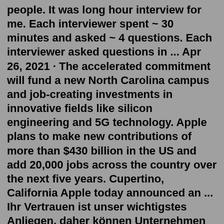people. It was long hour interview for me. Each interviewer spent ~ 30 minutes and asked ~ 4 questions. Each interviewer asked questions in ... Apr 26, 2021 · The accelerated commitment will fund a new North Carolina campus and job-creating investments in innovative fields like silicon engineering and 5G technology. Apple plans to make new contributions of more than $430 billion in the US and add 20,000 jobs across the country over the next five years. Cupertino, California Apple today announced an ... Ihr Vertrauen ist unser wichtigstes Anliegen, daher können Unternehmen Bewertungen weder ändern noch entfernen. Pros. " good pay " (in 193 Bewertungen) Kontras. " Das macht viel des Apple Retail Flair in DE kaputt " (in 1 Bewertung) Die Pros und Kontras sind Auszüge aus Bewertungen von Nutzern. Sie wurden nicht von Glassdoor verfasst. Apr 20, 2022 · The estimated total pay for a ICT5 at Apple is $177,518 per year. This number represents the median, which is the midpoint of the ranges from our proprietary Total Pay Estimate...